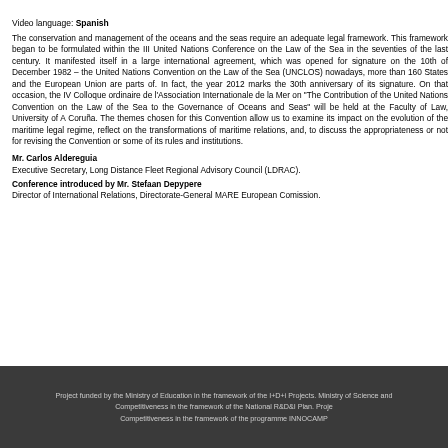Video language: Spanish
The conservation and management of the oceans and the seas require an adequate legal framework. This framework began to be formulated within the III United Nations Conference on the Law of the Sea in the seventies of the last century. It manifested itself in a large international agreement, which was opened for signature on the 10th of December 1982 – the United Nations Convention on the Law of the Sea (UNCLOS) nowadays, more than 160 States and the European Union are parts of. In fact, the year 2012 marks the 30th anniversary of its signature. On that occasion, the IV Colloque ordinaire de l'Association Internationale de la Mer on "The Contribution of the United Nations Convention on the Law of the Sea to the Governance of Oceans and Seas" will be held at the Faculty of Law, University of A Coruña. The themes chosen for this Convention allow us to examine its impact on the evolution of the maritime legal regime, reflect on the transformations of maritime relations, and, to discuss the appropriateness or not for revising the Convention or some of its rules and institutions.
Mr. Carlos Aldereguia
Executive Secretary, Long Distance Fleet Regional Advisory Council (LDRAC).
Conference introduced by Mr. Stefaan Depypere
Director of International Relations, Directorate-General MARE European Comission.
Project funded by the Ministry of Education in the framework of the I+D+i Projects. Ministry of Science and Competitiveness in the framework of the National R&D&I Plan. Project funded by the Ministry of Science and Competitiveness in the framework of the programme INNOCAMPUS.